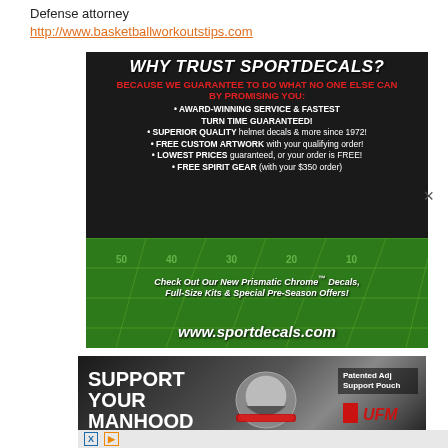Defense attorney
http://www.basketballworkoutstips.com
[Figure (illustration): SportDecals advertisement on dark background with football field graphic. Text: WHY TRUST SPORTDECALS? BECAUSE WE GUARANTEE TO DO WHAT NO ONE ELSE CAN BY PROMISING YOU: bullet points about award-winning service, quality, free custom artwork, lowest prices, free spirit gear. Check Out Our New Prismatic Chrome™ Decals, Full-Size Kits & Special Pre-Season Offers! www.sportdecals.com]
[Figure (illustration): UFM underwear advertisement. Text: SUPPORT YOUR MANHOOD. Patented Adj Support Pouch. UFM logo.]